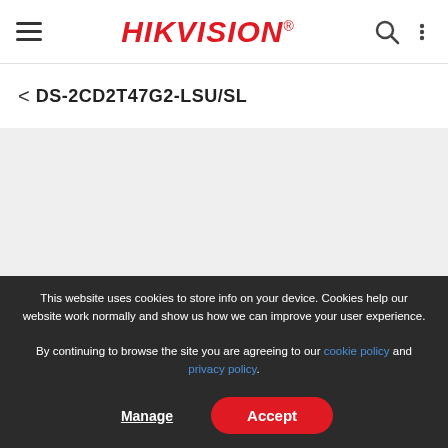HIKVISION® — Navigation header with hamburger menu, logo, search and more icons
< DS-2CD2T47G2-LSU/SL
[Figure (other): Gray empty content area placeholder]
This website uses cookies to store info on your device. Cookies help our website work normally and show us how we can improve your user experience.
By continuing to browse the site you are agreeing to our cookie policy and privacy policy.
Manage   Accept